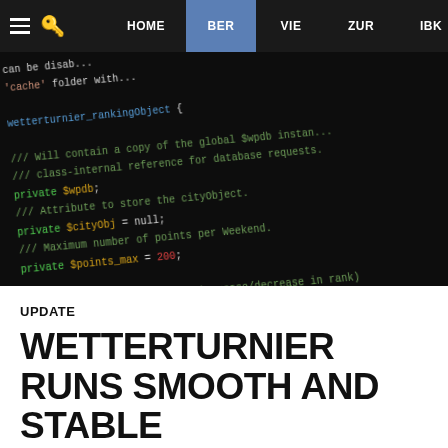HOME | BER | VIE | ZUR | IBK
[Figure (screenshot): Dark-background code screenshot showing PHP class wetterturnier_rankingObject with private properties $wpdb, $cityObj, $points_max = 200, $calc_trend, $cachehash = 'UNNAMED', and comments about database requests, cityObject storage, trend calculation, and cache file generation.]
UPDATE
WETTERTURNIER RUNS SMOOTH AND STABLE